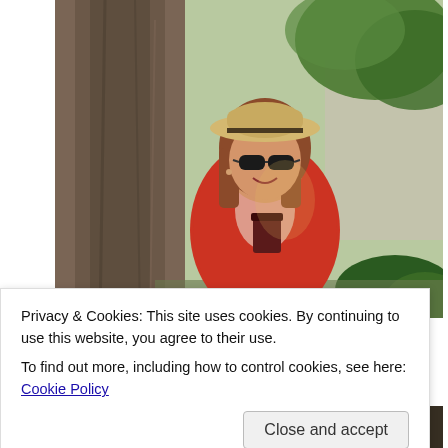[Figure (photo): Woman wearing a tan fedora hat and dark sunglasses, dressed in a red knit cardigan, standing in front of a large tree with green foliage and a brick building visible in the background. She appears to be holding a dark drink.]
Privacy & Cookies: This site uses cookies. By continuing to use this website, you agree to their use.
To find out more, including how to control cookies, see here: Cookie Policy
[Figure (photo): Partial view of another photo at the bottom of the page, showing a dark scene.]